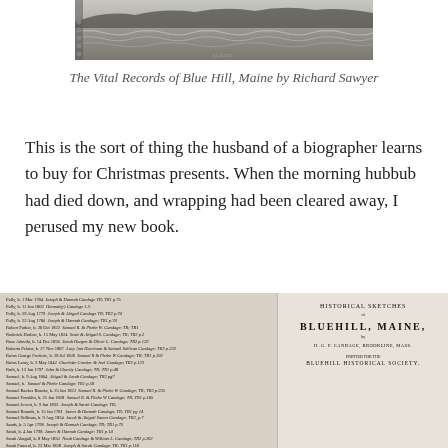[Figure (photo): Black and white photograph of ocean waves and rocky hills, appearing to be an engraving or illustration from a historical book about Blue Hill, Maine.]
The Vital Records of Blue Hill, Maine by Richard Sawyer
This is the sort of thing the husband of a biographer learns to buy for Christmas presents. When the morning hubbub had died down, and wrapping had been cleared away, I perused my new book.
[Figure (photo): Scanned page from a historical genealogical record listing names starting with P, R, S including Polly, Robert Parker, Roderick Harlow, Rose Adavila, Roberta Pelona, Rufus George Frederic, Rufus Leroy, Ruth, Samuel, and other entries with dates and family connections.]
[Figure (photo): Title page of a book: Historical Sketches of Bluehill, Maine, by H.G.P. Candage, Brookline, Mass., printed for the Bluehill Historical Society.]